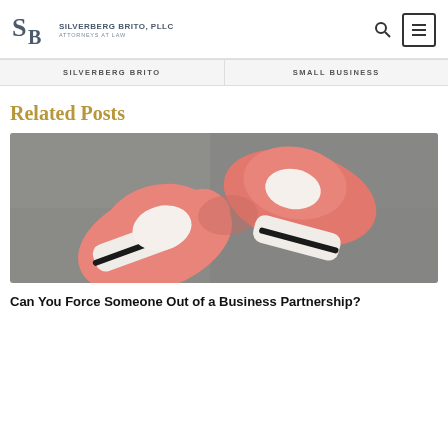Silverberg Brito, PLLC – Attorneys at Law
SILVERBERG BRITO | SMALL BUSINESS
Related Posts
[Figure (photo): Two pink and white boxing gloves lying on a gray concrete surface, viewed from above.]
Can You Force Someone Out of a Business Partnership?